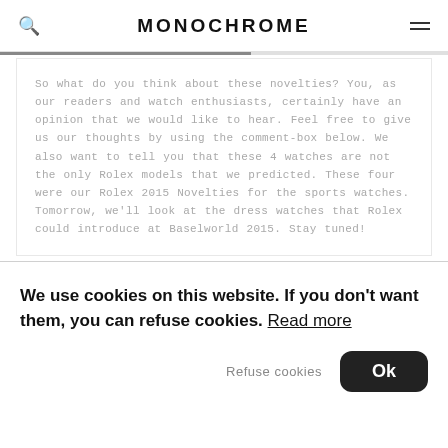MONOCHROME
So what do you think about these novelties? You, as our readers and watch enthusiasts, certainly have an opinion that we would like to hear. Feel free to give us our thoughts by using the comment-box below. We also want to tell you that these 4 watches are not the only Rolex models that we predicted. These four were our Rolex 2015 Novelties for the sports watches. Tomorrow, we'll look at the dress watches that Rolex could introduce at Baselworld 2015. Stay tuned!
We use cookies on this website. If you don't want them, you can refuse cookies. Read more
Refuse cookies
Ok